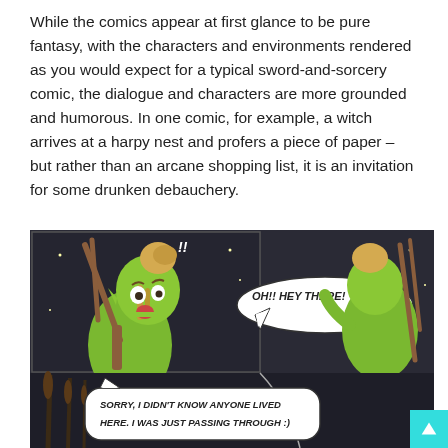While the comics appear at first glance to be pure fantasy, with the characters and environments rendered as you would expect for a typical sword-and-sorcery comic, the dialogue and characters are more grounded and humorous. In one comic, for example, a witch arrives at a harpy nest and profers a piece of paper – but rather than an arcane shopping list, it is an invitation for some drunken debauchery.
[Figure (illustration): A two-panel fantasy comic strip showing two green-skinned elf-like characters. Left panel: a surprised elf character with a hair bun and pointy ears, holding a staff, with a speech bubble saying 'OH!! HEY THERE!'. Right panel: the same character from behind, facing another similar character. Bottom panel: a speech bubble saying 'SORRY, I DIDN'T KNOW ANYONE LIVED HERE. I WAS JUST PASSING THROUGH :)'. Dark background with cattails.]